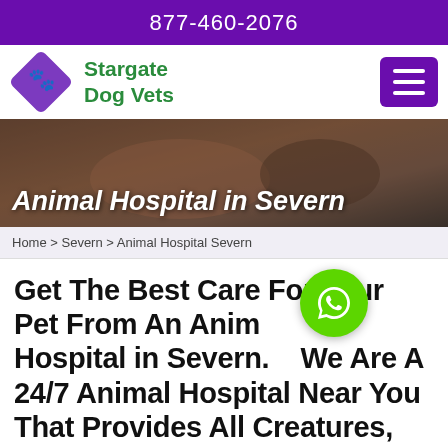877-460-2076
[Figure (logo): Stargate Dog Vets logo with purple diamond shape containing a dog silhouette, and green text reading Stargate Dog Vets]
[Figure (photo): Hero banner photo showing hands touching a dog, with overlay text Animal Hospital in Severn]
Home > Severn > Animal Hospital Severn
Get The Best Care For Your Pet From An Animal Hospital in Severn. We Are A 24/7 Animal Hospital Near You That Provides All Creatures, Pets,